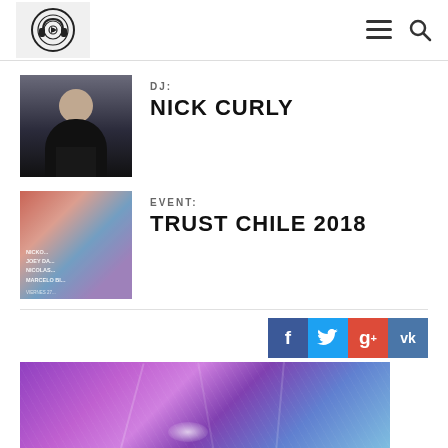DJ website header with logo and navigation icons
DJ:
NICK CURLY
EVENT:
TRUST CHILE 2018
[Figure (photo): Social media share buttons: Facebook, Twitter, Google+, VK]
[Figure (photo): Purple/pink lit nightclub venue photo with stage lighting]